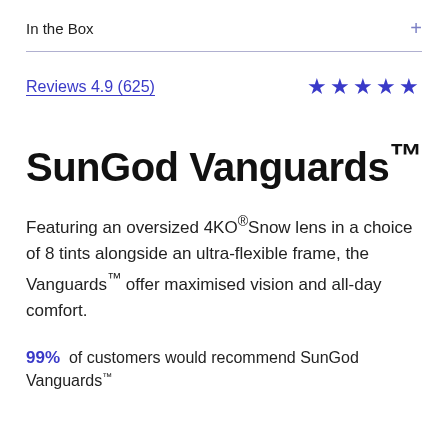In the Box
Reviews 4.9 (625)
SunGod Vanguards™
Featuring an oversized 4KO®Snow lens in a choice of 8 tints alongside an ultra-flexible frame, the Vanguards™ offer maximised vision and all-day comfort.
99% of customers would recommend SunGod Vanguards™